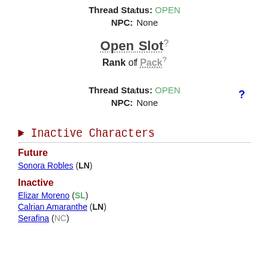Thread Status: OPEN
NPC: None
Open Slot? Rank of Pack?
?
Thread Status: OPEN
NPC: None
► Inactive Characters
Future
Sonora Robles (LN)
Inactive
Elizar Moreno (SL)
Calrian Amaranthe (LN)
Serafina (NC)